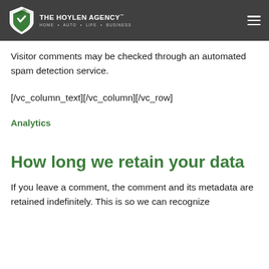The Hoylen Agency — HOME · AUTO · LIFE · BUSINESS
Where we send your data
Visitor comments may be checked through an automated spam detection service.
[/vc_column_text][/vc_column][/vc_row]
Analytics
How long we retain your data
If you leave a comment, the comment and its metadata are retained indefinitely. This is so we can recognize